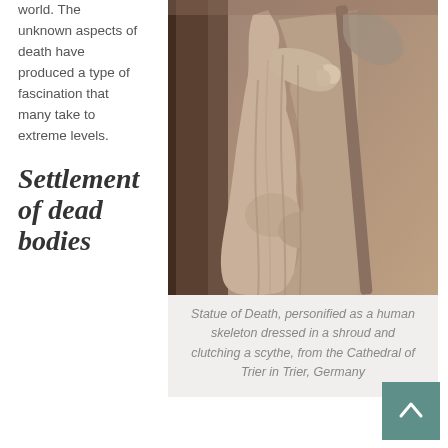world. The unknown aspects of death have produced a type of fascination that many take to extreme levels.
Settlement of dead bodies
[Figure (photo): Photograph of a stone statue of Death personified as a human skeleton dressed in a shroud and clutching a scythe, from the Cathedral of Trier in Trier, Germany]
Statue of Death, personified as a human skeleton dressed in a shroud and clutching a scythe, from the Cathedral of Trier in Trier, Germany
Incomplete text at bottom of page